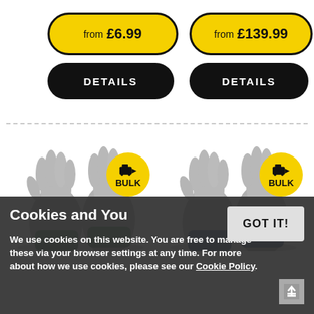from £6.99
from £139.99
DETAILS
DETAILS
[Figure (photo): Two grey work gloves with BULK badge overlay (left product)]
[Figure (photo): Two grey work gloves with BULK badge overlay (right product)]
Cookies and You
We use cookies on this website. You are free to manage these via your browser settings at any time. For more about how we use cookies, please see our Cookie Policy.
GOT IT!